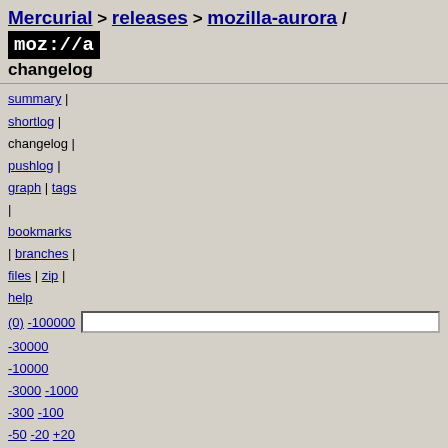Mercurial > releases > mozilla-aurora / moz://a changelog
summary | shortlog | changelog | pushlog | graph | tags | bookmarks | branches | files | zip | help
(0) -100000 -30000 -10000 -3000 -1000 -300 -100 -50 -20 +20 +50 +100 +300 +1000 +3000 +10000 +30000 +100000 tip
d0e1eff200975c5dbce1c2e8b1f0d49796b2a3f8: Bug 819613 - Move app command code to nsWindowBase so it can be shared between win32 and metro widgets (plus missing include fix). r=tabraldes
diff   Jim Mathies <jmathies@mozilla.com> - Wed, 05 Feb 2014